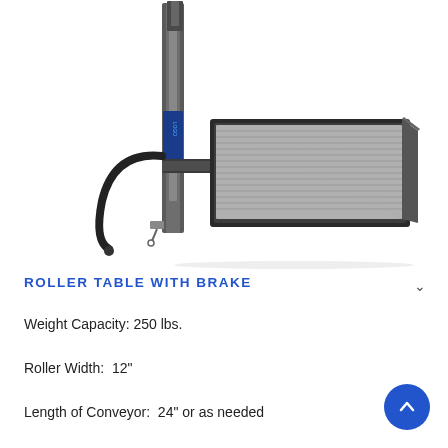[Figure (photo): A roller table with brake mechanism attached to a vertical mast/column. The table features a metal roller conveyor surface extending to the right, with a curved handle/lever visible on the left side of the vertical column. The equipment appears to be an industrial material handling device.]
ROLLER TABLE WITH BRAKE
Weight Capacity: 250 lbs.
Roller Width:  12"
Length of Conveyor:  24" or as needed